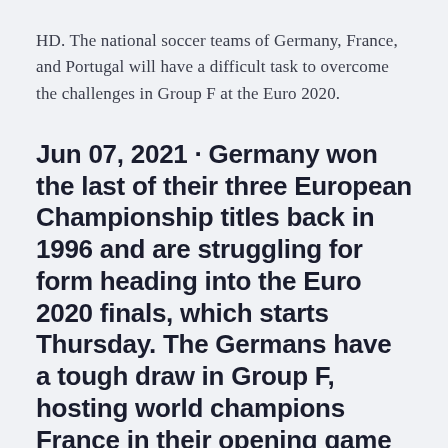HD. The national soccer teams of Germany, France, and Portugal will have a difficult task to overcome the challenges in Group F at the Euro 2020.
Jun 07, 2021 · Germany won the last of their three European Championship titles back in 1996 and are struggling for form heading into the Euro 2020 finals, which starts Thursday. The Germans have a tough draw in Group F, hosting world champions France in their opening game on June 15, then playing holders Portugal four